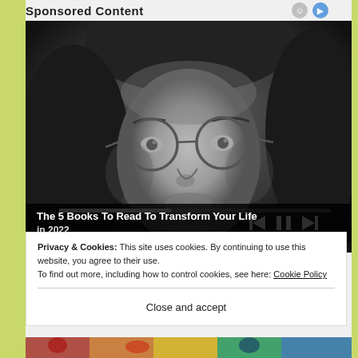Sponsored Content
[Figure (photo): Black and white close-up photo of a young man with long hair and round wire-rimmed glasses, looking slightly upward. Media player controls (skip back, pause, skip forward) and a progress bar are overlaid at the bottom of the image.]
The 5 Books To Read To Transform Your Life in 2022
Privacy & Cookies: This site uses cookies. By continuing to use this website, you agree to their use.
To find out more, including how to control cookies, see here: Cookie Policy
Close and accept
[Figure (photo): Colorful bottom strip showing a partially visible image, appears to be a crowd or market scene with bright colors.]